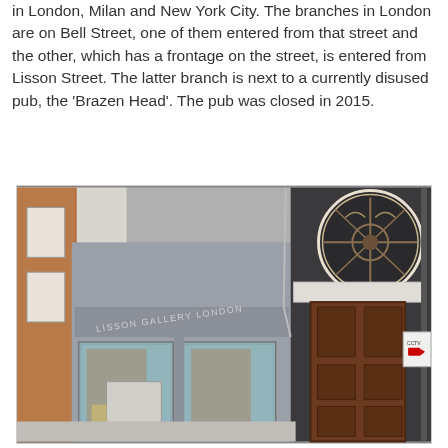in London, Milan and New York City. The branches in London are on Bell Street, one of them entered from that street and the other, which has a frontage on the street, is entered from Lisson Street. The latter branch is next to a currently disused pub, the 'Brazen Head'. The pub was closed in 2015.
[Figure (photo): Photograph of two adjacent building facades on a London street. On the left is a grey-painted gallery building with large glass windows and signage reading 'LISSON GALLERY LONDON'. On the right is a dark stone/granite facade with ornate ironwork in a circular fanlight above a large wooden door, which appears to be the disused 'Brazen Head' pub. A CCTV camera warning sign is visible on the right side.]